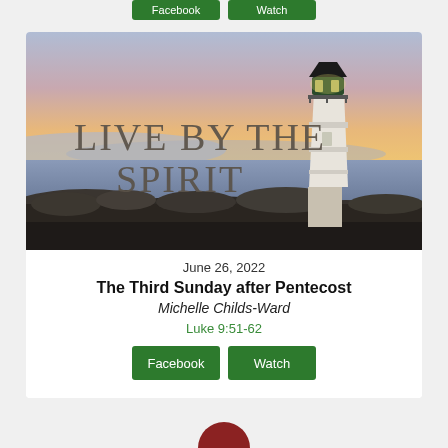[Figure (illustration): Two partial green buttons visible at the top of the page, cropped from a previous section]
[Figure (photo): Lighthouse at sunset by rocky shoreline with text overlay reading LIVE BY THE SPIRIT in serif font]
June 26, 2022
The Third Sunday after Pentecost
Michelle Childs-Ward
Luke 9:51-62
[Figure (other): Two green buttons labeled Facebook and Watch]
[Figure (other): Partial red/dark red circle at the bottom of the page, cropped]